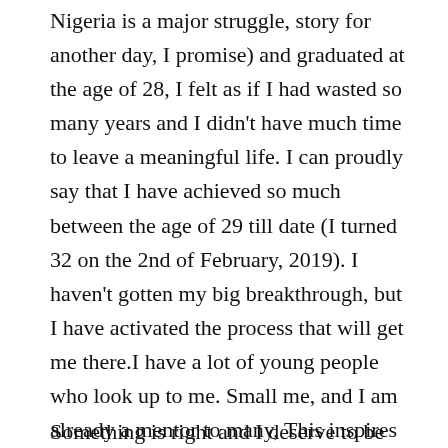Nigeria is a major struggle, story for another day, I promise) and graduated at the age of 28, I felt as if I had wasted so many years and I didn't have much time to leave a meaningful life. I can proudly say that I have achieved so much between the age of 29 till date (I turned 32 on the 2nd of February, 2019). I haven't gotten my big breakthrough, but I have activated the process that will get me there.I have a lot of young people who look up to me. Small me, and I am already a mentor to many, This inspires me to live a life worthy of emulation.  I don't want to be anybody's role model, I do not want to be put on a pedestal, I just want to groom more young people to aspire to do better than me and be a source of inspiration to the next generation.
Something is right and I deserve to be blessed by